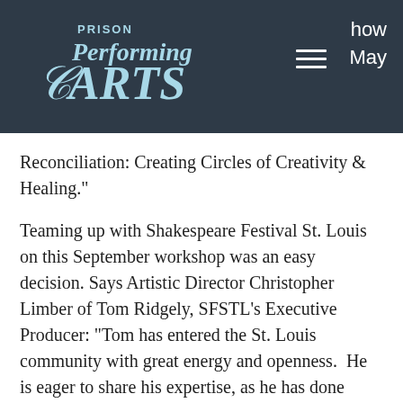[Figure (logo): Prison Performing Arts logo in light blue text on dark navy background, with hamburger menu icon and partial text 'how' and 'May' on the right side]
Reconciliation: Creating Circles of Creativity & Healing."
Teaming up with Shakespeare Festival St. Louis on this September workshop was an easy decision. Says Artistic Director Christopher Limber of Tom Ridgely, SFSTL's Executive Producer: "Tom has entered the St. Louis community with great energy and openness.  He is eager to share his expertise, as he has done throughout his career, to make collaboration part of his creative wheelhouse. PPA believes his collaborative spirit is central to our mission. The Shakespeare Festival has